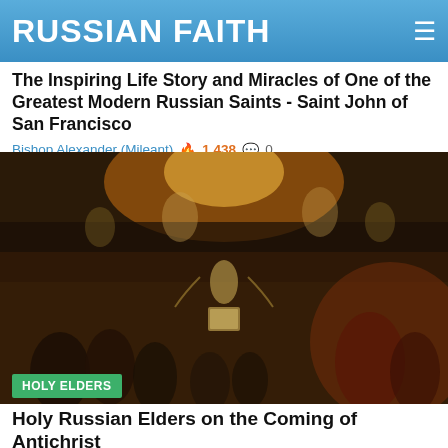RUSSIAN FAITH
The Inspiring Life Story and Miracles of One of the Greatest Modern Russian Saints - Saint John of San Francisco
Bishop Alexander (Mileant) 🔥 1,438 💬 0
[Figure (photo): Dark religious oil painting depicting a heavenly scene with angels, a central figure in light at the top, and crowds of people below in dramatic chiaroscuro style.]
HOLY ELDERS
Holy Russian Elders on the Coming of Antichrist